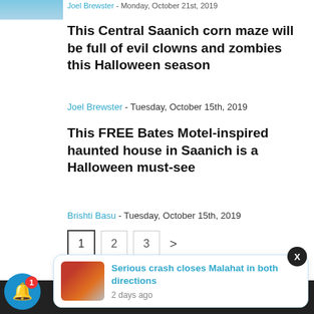[Figure (photo): Partial image strip at top left corner, showing a blurred person]
Joel Brewster - Monday, October 21st, 2019
This Central Saanich corn maze will be full of evil clowns and zombies this Halloween season
Joel Brewster - Tuesday, October 15th, 2019
This FREE Bates Motel-inspired haunted house in Saanich is a Halloween must-see
Brishti Basu - Tuesday, October 15th, 2019
1  2  3  >
Serious crash closes Malahat in both directions  2 days ago
© 2022 A division of Brenons Social Media